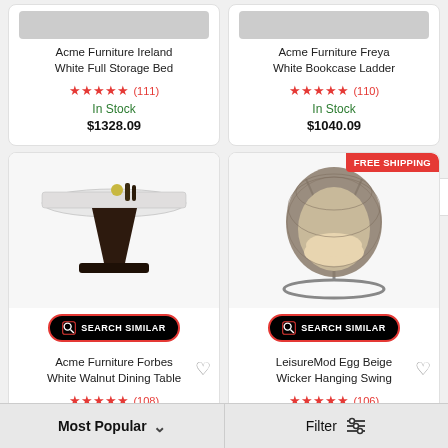Acme Furniture Ireland White Full Storage Bed
★★★★★ (111) In Stock $1328.09
Acme Furniture Freya White Bookcase Ladder
★★★★★ (110) In Stock $1040.09
[Figure (photo): Acme Furniture Forbes White Walnut Dining Table product photo with marble top and dark base]
SEARCH SIMILAR
Acme Furniture Forbes White Walnut Dining Table
★★★★★ (108) In Stock
[Figure (photo): LeisureMod Egg Beige Wicker Hanging Swing Chair product photo]
FREE SHIPPING
SEARCH SIMILAR
LeisureMod Egg Beige Wicker Hanging Swing
★★★★★ (106) In Stock
Most Popular ▾    Filter